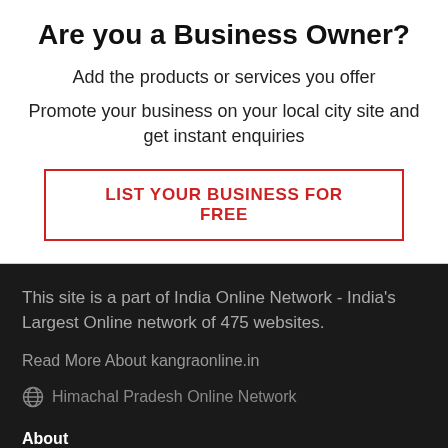Are you a Business Owner?
Add the products or services you offer
Promote your business on your local city site and get instant enquiries
LIST YOUR BUSINESS FOR FREE
This site is a part of India Online Network - India's Largest Online network of 475 websites.
Read More About kangraonline.in
Himachal Pradesh Online Network
About